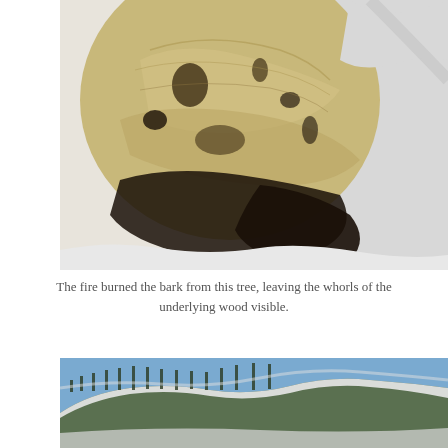[Figure (photo): Close-up photograph of a fire-damaged tree trunk showing the underlying wood with whorls and burn marks, surrounded by snow. The bark has been burned away revealing the pale tan/cream colored wood with dark charred patches.]
The fire burned the bark from this tree, leaving the whorls of the underlying wood visible.
[Figure (photo): Photograph of a snow-covered mountain ridge with evergreen trees (conifers) dusted in snow against a blue sky. The mountain slopes are heavily forested with snow-laden trees.]